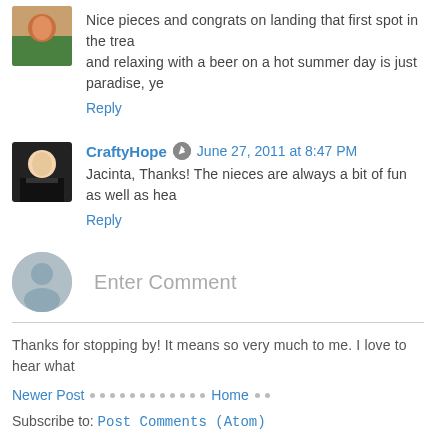Nice pieces and congrats on landing that first spot in the trea and relaxing with a beer on a hot summer day is just paradise, ye
Reply
CraftyHope  June 27, 2011 at 8:47 PM
Jacinta, Thanks! The nieces are always a bit of fun as well as hea
Reply
Enter Comment
Thanks for stopping by! It means so very much to me. I love to hear what
Newer Post
Home
Subscribe to: Post Comments (Atom)
Diy Beaded Fan Pull
The Magical Mystery Bead Box for May 2022 that I received from Jesse full of all kinds of am...